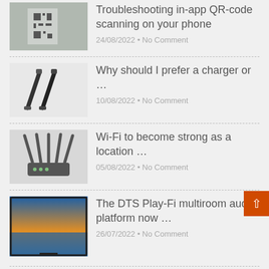Troubleshooting in-app QR-code scanning on your phone
24/08/2022 • No Comment
Why should I prefer a charger or …
10/08/2022 • No Comment
Wi-Fi to become strong as a location …
05/08/2022 • No Comment
The DTS Play-Fi multiroom audio platform now …
26/07/2022 • No Comment
Have this in your mailbox